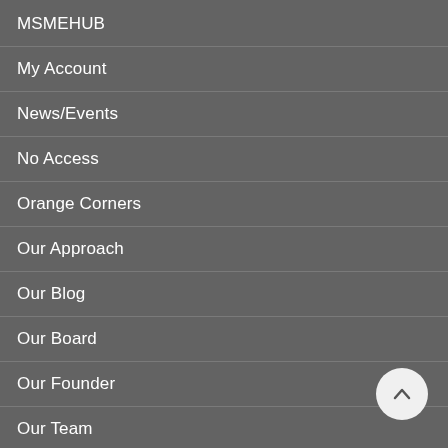MSMEHUB
My Account
News/Events
No Access
Orange Corners
Our Approach
Our Blog
Our Board
Our Founder
Our Team
Partners